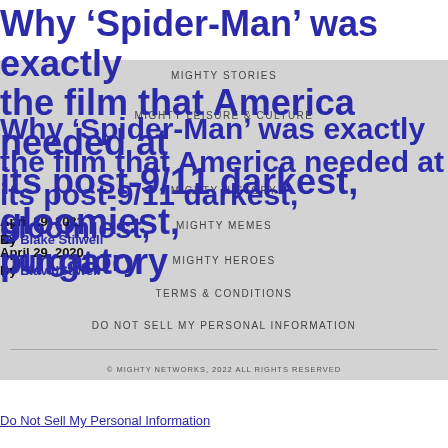Why ‘Spider-Man’ was exactly the film that America needed at its post-9/11 darkest, gloomiest, purgatory
April 29, 2021
By Blake Stilwell
MIGHTY STORIES
MIGHTY LEISURE & CULTURE
MIGHTY HISTORY
MIGHTY MEMES
MIGHTY HEROES
TERMS & CONDITIONS
DO NOT SELL MY PERSONAL INFORMATION
© MIGHTY NETWORKS, 2022 ALL RIGHTS RESERVED
Do Not Sell My Personal Information